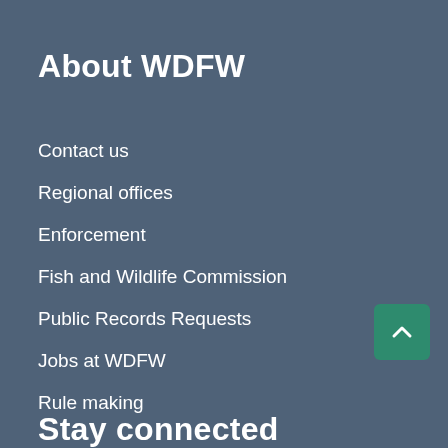About WDFW
Contact us
Regional offices
Enforcement
Fish and Wildlife Commission
Public Records Requests
Jobs at WDFW
Rule making
[Figure (other): Scroll to top button with upward chevron arrow on green background]
Stay connected